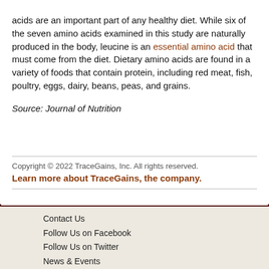acids are an important part of any healthy diet. While six of the seven amino acids examined in this study are naturally produced in the body, leucine is an essential amino acid that must come from the diet. Dietary amino acids are found in a variety of foods that contain protein, including red meat, fish, poultry, eggs, dairy, beans, peas, and grains.
Source: Journal of Nutrition
Copyright © 2022 TraceGains, Inc. All rights reserved.
Learn more about TraceGains, the company.
Contact Us
Follow Us on Facebook
Follow Us on Twitter
News & Events
Contact Sales Fl...